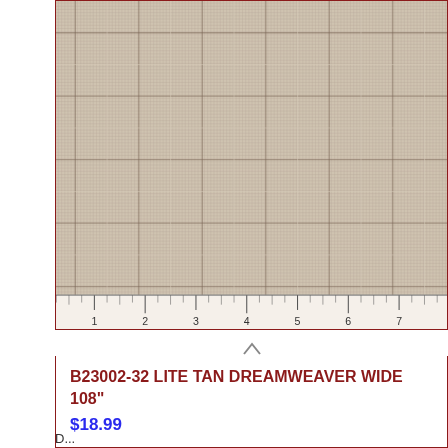[Figure (photo): Close-up photo of a woven fabric with a tan/beige crosshatch/plaid weave texture pattern, shown with a ruler at the bottom indicating scale up to 8 inches.]
B23002-32 LITE TAN DREAMWEAVER WIDE 108"
$18.99
D...